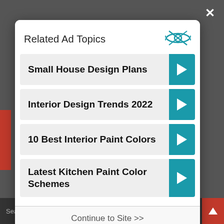Related Ad Topics
Small House Design Plans
Interior Design Trends 2022
10 Best Interior Paint Colors
Latest Kitchen Paint Color Schemes
Continue to Site >>
Search for
2. Interior Design Trends 2022